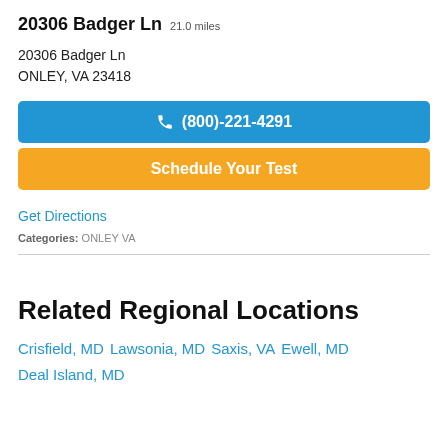20306 Badger Ln 21.0 miles
20306 Badger Ln
ONLEY, VA 23418
(800)-221-4291
Schedule Your Test
Get Directions
Categories: ONLEY VA
Related Regional Locations
Crisfield, MD Lawsonia, MD Saxis, VA Ewell, MD Deal Island, MD